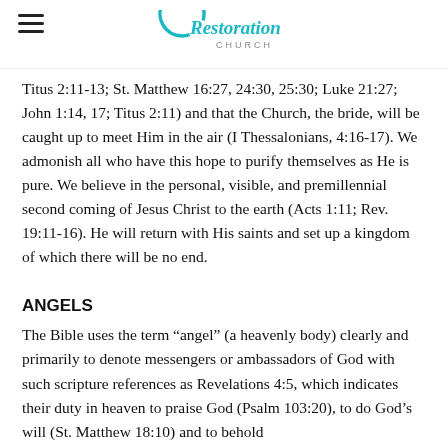Restoration Church
Titus 2:11-13; St. Matthew 16:27, 24:30, 25:30; Luke 21:27; John 1:14, 17; Titus 2:11) and that the Church, the bride, will be caught up to meet Him in the air (I Thessalonians, 4:16-17). We admonish all who have this hope to purify themselves as He is pure. We believe in the personal, visible, and premillennial second coming of Jesus Christ to the earth (Acts 1:11; Rev. 19:11-16). He will return with His saints and set up a kingdom of which there will be no end.
ANGELS
The Bible uses the term “angel” (a heavenly body) clearly and primarily to denote messengers or ambassadors of God with such scripture references as Revelations 4:5, which indicates their duty in heaven to praise God (Psalm 103:20), to do God’s will (St. Matthew 18:10) and to behold